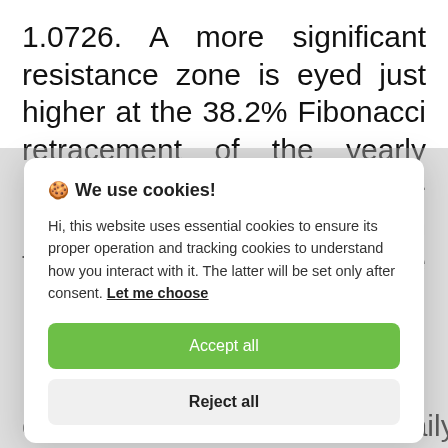1.0726. A more significant resistance zone is eyed just higher at the 38.2% Fibonacci retracement of the yearly range / March low at 1.0787-1.0805. Risk for near-term topside exhaustion into these levels
🍪 We use cookies!
Hi, this website uses essential cookies to ensure its proper operation and tracking cookies to understand how you interact with it. The latter will be set only after consent. Let me choose
Accept all
Reject all
converges on 1.0726 and a daily close